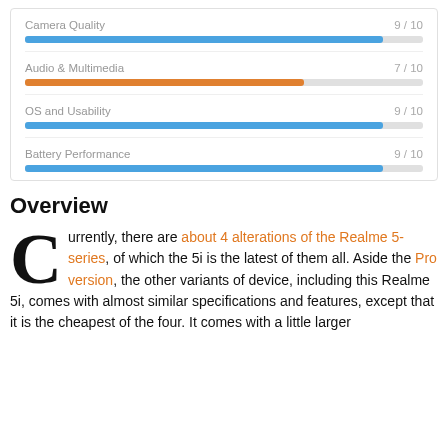[Figure (bar-chart): Ratings]
Overview
Currently, there are about 4 alterations of the Realme 5-series, of which the 5i is the latest of them all. Aside the Pro version, the other variants of device, including this Realme 5i, comes with almost similar specifications and features, except that it is the cheapest of the four. It comes with a little larger